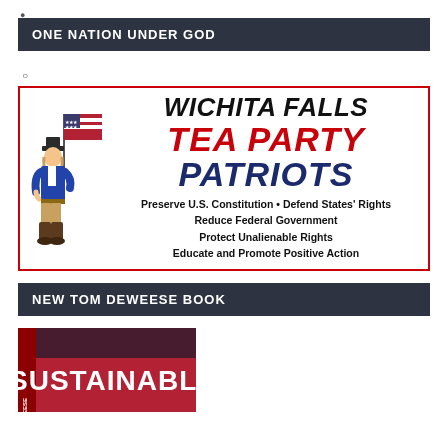ONE NATION UNDER GOD
[Figure (logo): Wichita Falls Tea Party Patriots logo with minuteman figure holding flag, red bordered box. Text: WICHITA FALLS TEA PARTY PATRIOTS. Taglines: Preserve U.S. Constitution • Defend States' Rights / Reduce Federal Government / Protect Unalienable Rights / Educate and Promote Positive Action]
NEW TOM DEWEESE BOOK
[Figure (photo): Partial view of a book cover showing the word SUSTAINABLE in white text on a red cover]